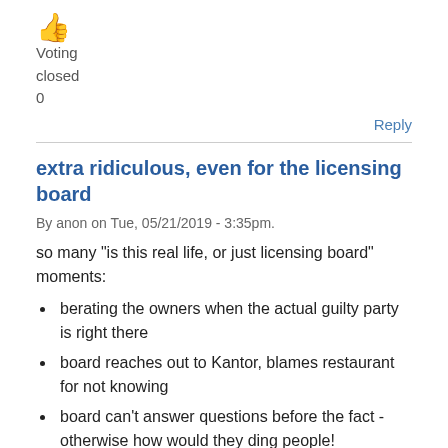[Figure (other): Thumbs up emoji icon in orange/yellow]
Voting
closed
0
Reply
extra ridiculous, even for the licensing board
By anon on Tue, 05/21/2019 - 3:35pm.
so many "is this real life, or just licensing board" moments:
berating the owners when the actual guilty party is right there
board reaches out to Kantor, blames restaurant for not knowing
board can't answer questions before the fact - otherwise how would they ding people!
it's a wonder anybody wants to own a restaurant in this town except giant corporations who can bankroll the absurd license